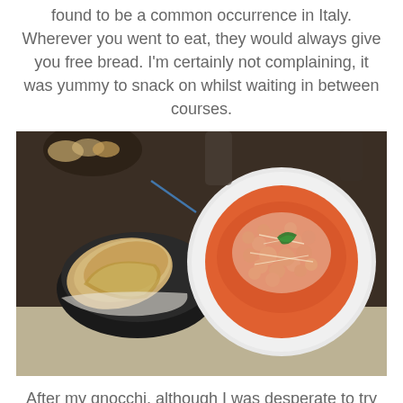found to be a common occurrence in Italy. Wherever you went to eat, they would always give you free bread. I'm certainly not complaining, it was yummy to snack on whilst waiting in between courses.
[Figure (photo): Restaurant table with a basket of bread on the left and a white plate of gnocchi in tomato sauce topped with grated cheese and a basil leaf on the right, set on a paper placemat with text.]
After my gnocchi, although I was desperate to try something off the dessert menu I just couldn't fit